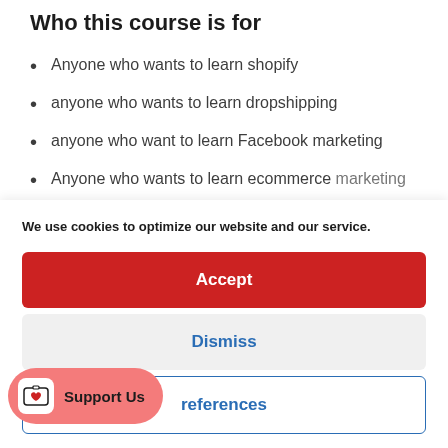Who this course is for
Anyone who wants to learn shopify
anyone who wants to learn dropshipping
anyone who want to learn Facebook marketing
Anyone who wants to learn ecommerce marketing
We use cookies to optimize our website and our service.
Accept
Dismiss
references
Support Us